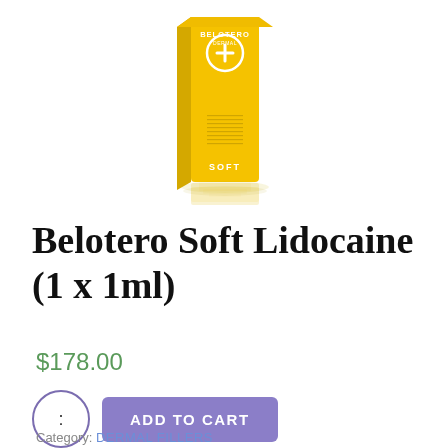[Figure (photo): Yellow Belotero Soft product box with a circular plus symbol on the front, standing upright on a white background with a subtle reflection below it.]
Belotero Soft Lidocaine (1 x 1ml)
$178.00
ADD TO CART
Category: DERMAL FILLERS